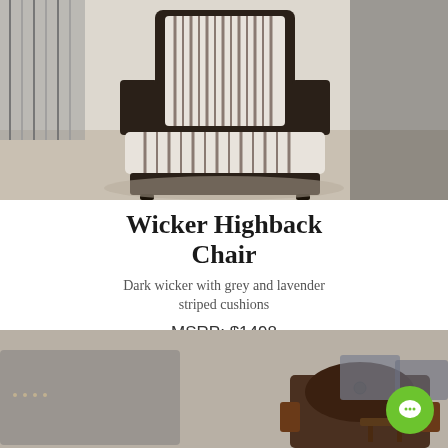[Figure (photo): Dark wicker highback chair with grey and lavender striped cushions displayed in a furniture store showroom]
Wicker Highback Chair
Dark wicker with grey and lavender striped cushions
MSRP: $1498
NOW: $778
WC11
[Figure (photo): Dark leather tufted armchair in furniture store showroom with other chairs visible in background]